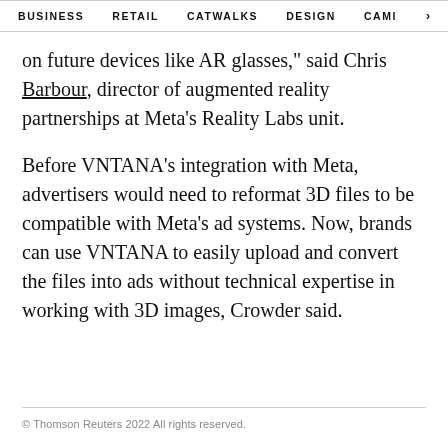BUSINESS   RETAIL   CATWALKS   DESIGN   CAMI  >
on future devices like AR glasses," said Chris Barbour, director of augmented reality partnerships at Meta's Reality Labs unit.
Before VNTANA's integration with Meta, advertisers would need to reformat 3D files to be compatible with Meta's ad systems. Now, brands can use VNTANA to easily upload and convert the files into ads without technical expertise in working with 3D images, Crowder said.
© Thomson Reuters 2022 All rights reserved.